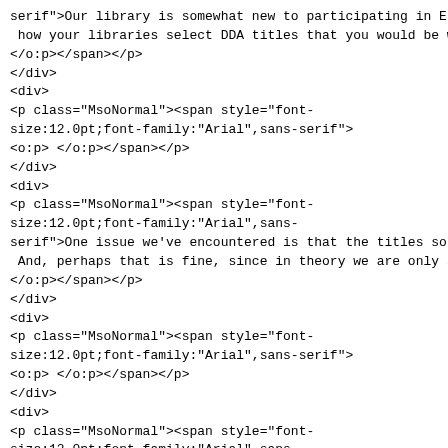serif">Our library is somewhat new to participating in E how your libraries select DDA titles that you would be w </o:p></span></p>
</div>
<div>
<p class="MsoNormal"><span style="font-size:12.0pt;font-family:"Arial",sans-serif">
<o:p> </o:p></span></p>
</div>
<div>
<p class="MsoNormal"><span style="font-size:12.0pt;font-family:"Arial",sans-serif">One issue we've encountered is that the titles so And, perhaps that is fine, since in theory we are only s </o:p></span></p>
</div>
<div>
<p class="MsoNormal"><span style="font-size:12.0pt;font-family:"Arial",sans-serif">
<o:p> </o:p></span></p>
</div>
<div>
<p class="MsoNormal"><span style="font-size:12.0pt;font-family:"Arial",sans-serif">Any recommendations, policies, or guidance would b </o:p></span></p>
</div>
<div>
<p class="MsoNormal"><span style="font-size:12.0pt;font-family:"Arial",sans-serif">